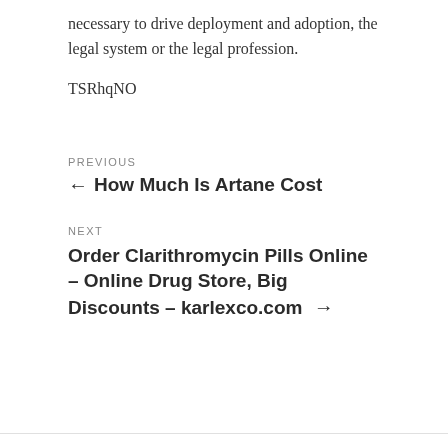necessary to drive deployment and adoption, the legal system or the legal profession.
TSRhqNO
PREVIOUS
← How Much Is Artane Cost
NEXT
Order Clarithromycin Pills Online – Online Drug Store, Big Discounts – karlexco.com →